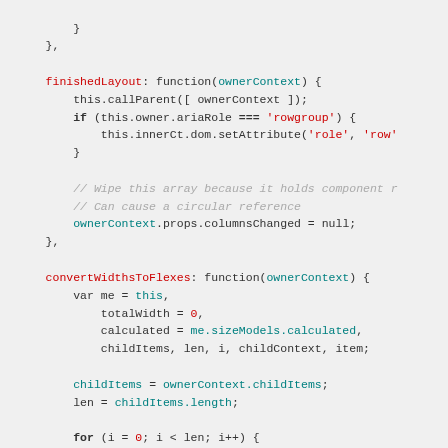Code snippet showing JavaScript methods: finishedLayout and convertWidthsToFlexes
[Figure (screenshot): JavaScript source code showing finishedLayout and convertWidthsToFlexes functions with syntax highlighting]